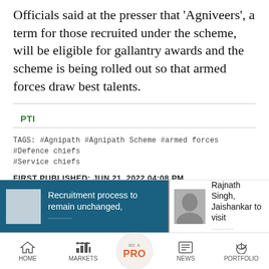Officials said at the presser that 'Agniveers', a term for those recruited under the scheme, will be eligible for gallantry awards and the scheme is being rolled out so that armed forces draw best talents.
PTI
TAGS: #Agnipath #Agnipath Scheme #armed forces #Defence chiefs #Service chiefs
FIRST PUBLISHED: JUN 21, 2022 04:08 PM
[Figure (screenshot): Related article card: 'Recruitment process to remain unchanged,' on blue background with thumbnail image placeholder]
[Figure (screenshot): Related article card: 'Rajnath Singh, Jaishankar to visit...' with person photo thumbnail]
[Figure (screenshot): Bottom navigation bar with Home, Markets, BE A PRO, News, Portfolio icons]